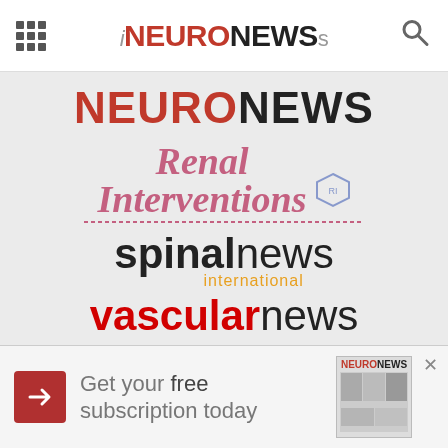[Figure (logo): iNeuroNews header with grid menu icon and search icon]
[Figure (logo): NEURONEWS logo in red and black bold uppercase]
[Figure (logo): Renal Interventions logo in pink italic serif with badge icon]
[Figure (logo): spinalnews international logo with bold and light weight text and orange subtitle]
[Figure (logo): vascularnews logo in red bold and black light text]
[Figure (logo): Vascular (Specialties) logo in dark blue bold italic serif, partially visible]
[Figure (infographic): Advertisement banner: Get your free subscription today with NEURONEWS image]